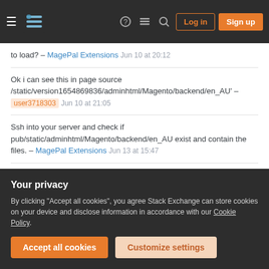Stack Exchange navigation bar with Log in and Sign up buttons
to load? – MagePal Extensions Jun 10 at 20:12
Ok i can see this in page source /static/version1654869836/adminhtml/Magento/backend/en_AU' – user3718303 Jun 10 at 21:05
Ssh into your server and check if pub/static/adminhtml/Magento/backend/en_AU exist and contain the files. – MagePal Extensions Jun 13 at 15:47
Yes i can confirm – user3718303 Jun 13 at 21:23
If the physical files are there then it seems to be more of a server issue check your .htaccess file and files
Your privacy
By clicking "Accept all cookies", you agree Stack Exchange can store cookies on your device and disclose information in accordance with our Cookie Policy.
Accept all cookies
Customize settings